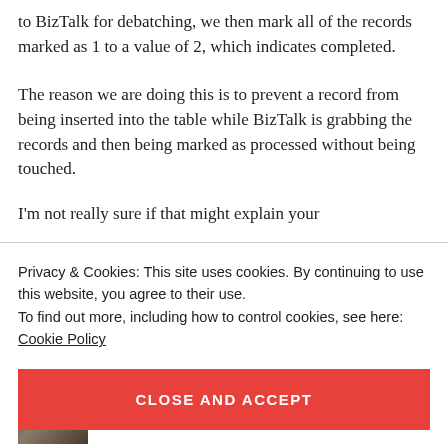to BizTalk for debatching, we then mark all of the records marked as 1 to a value of 2, which indicates completed.
The reason we are doing this is to prevent a record from being inserted into the table while BizTalk is grabbing the records and then being marked as processed without being touched.
I'm not really sure if that might explain your
Privacy & Cookies: This site uses cookies. By continuing to use this website, you agree to their use.
To find out more, including how to control cookies, see here: Cookie Policy
CLOSE AND ACCEPT
[Figure (photo): Small thumbnail image, partially visible at bottom of page]